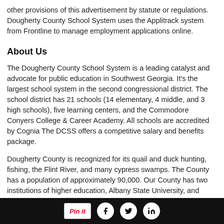other provisions of this advertisement by statute or regulations. Dougherty County School System uses the Applitrack system from Frontline to manage employment applications online.
About Us
The Dougherty County School System is a leading catalyst and advocate for public education in Southwest Georgia. It's the largest school system in the second congressional district. The school district has 21 schools (14 elementary, 4 middle, and 3 high schools), five learning centers, and the Commodore Conyers College & Career Academy. All schools are accredited by Cognia The DCSS offers a competitive salary and benefits package.
Dougherty County is recognized for its quail and duck hunting, fishing, the Flint River, and many cypress swamps. The County has a population of approximately 90,000. Our County has two institutions of higher education, Albany State University, and
Pin it | Facebook | Twitter | LinkedIn